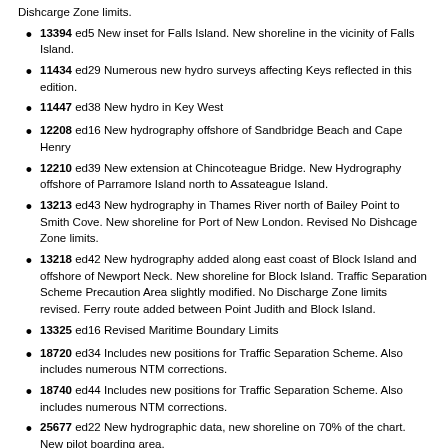Dishcarge Zone limits.
13394 ed5 New inset for Falls Island. New shoreline in the vicinity of Falls Island.
11434 ed29 Numerous new hydro surveys affecting Keys reflected in this edition.
11447 ed38 New hydro in Key West
12208 ed16 New hydrography offshore of Sandbridge Beach and Cape Henry
12210 ed39 New extension at Chincoteague Bridge. New Hydrography offshore of Parramore Island north to Assateague Island.
13213 ed43 New hydrography in Thames River north of Bailey Point to Smith Cove. New shoreline for Port of New London. Revised No Dishcage Zone limits.
13218 ed42 New hydrography added along east coast of Block Island and offshore of Newport Neck. New shoreline for Block Island. Traffic Separation Scheme Precaution Area slightly modified. No Discharge Zone limits revised. Ferry route added between Point Judith and Block Island.
13325 ed16 Revised Maritime Boundary Limits
18720 ed34 Includes new positions for Traffic Separation Scheme. Also includes numerous NTM corrections.
18740 ed44 Includes new positions for Traffic Separation Scheme. Also includes numerous NTM corrections.
25677 ed22 New hydrographic data, new shoreline on 70% of the chart. New pilot boarding area.